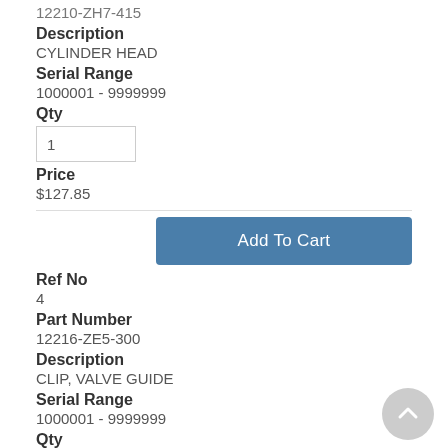12210-ZH7-415
Description
CYLINDER HEAD
Serial Range
1000001 - 9999999
Qty
1
Price
$127.85
Add To Cart
Ref No
4
Part Number
12216-ZE5-300
Description
CLIP, VALVE GUIDE
Serial Range
1000001 - 9999999
Qty